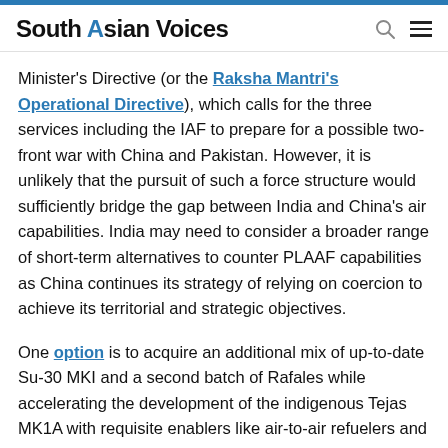South Asian Voices
Minister's Directive (or the Raksha Mantri's Operational Directive), which calls for the three services including the IAF to prepare for a possible two-front war with China and Pakistan. However, it is unlikely that the pursuit of such a force structure would sufficiently bridge the gap between India and China's air capabilities. India may need to consider a broader range of short-term alternatives to counter PLAAF capabilities as China continues its strategy of relying on coercion to achieve its territorial and strategic objectives.
One option is to acquire an additional mix of up-to-date Su-30 MKI and a second batch of Rafales while accelerating the development of the indigenous Tejas MK1A with requisite enablers like air-to-air refuelers and Airborne Early Warning and Control Systems. These, in combination with